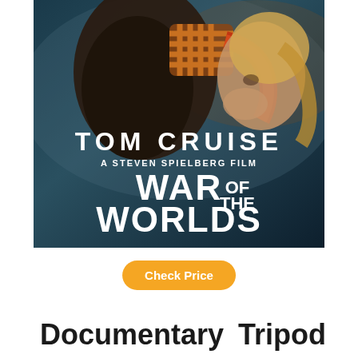[Figure (photo): Movie poster for War of the Worlds (2005). Shows Tom Cruise holding a young girl. Text reads: TOM CRUISE, A STEVEN SPIELBERG FILM, WAR OF THE WORLDS. Dark atmospheric background with orange and teal tones.]
Check Price
Documentary
Tripod